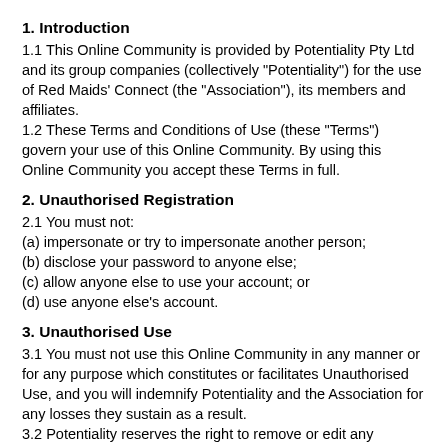1. Introduction
1.1 This Online Community is provided by Potentiality Pty Ltd and its group companies (collectively "Potentiality") for the use of Red Maids' Connect (the "Association"), its members and affiliates.
1.2 These Terms and Conditions of Use (these "Terms") govern your use of this Online Community. By using this Online Community you accept these Terms in full.
2. Unauthorised Registration
2.1 You must not:
(a) impersonate or try to impersonate another person;
(b) disclose your password to anyone else;
(c) allow anyone else to use your account; or
(d) use anyone else's account.
3. Unauthorised Use
3.1 You must not use this Online Community in any manner or for any purpose which constitutes or facilitates Unauthorised Use, and you will indemnify Potentiality and the Association for any losses they sustain as a result.
3.2 Potentiality reserves the right to remove or edit any material that it considers, in its sole discretion, constitutes Unauthorised Use.
3.3 For the purposes of these Terms, "Unauthorised Use" means